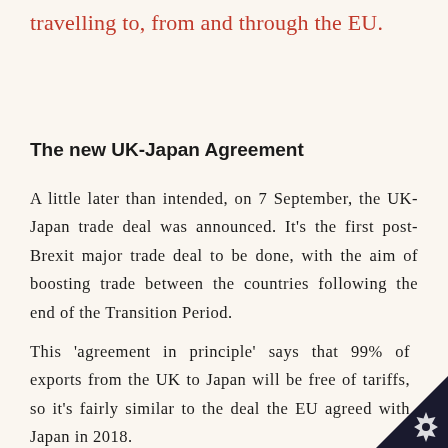travelling to, from and through the EU.
The new UK-Japan Agreement
A little later than intended, on 7 September, the UK-Japan trade deal was announced. It's the first post-Brexit major trade deal to be done, with the aim of boosting trade between the countries following the end of the Transition Period.
This 'agreement in principle' says that 99% of exports from the UK to Japan will be free of tariffs, so it's fairly similar to the deal the EU agreed with Japan in 2018.